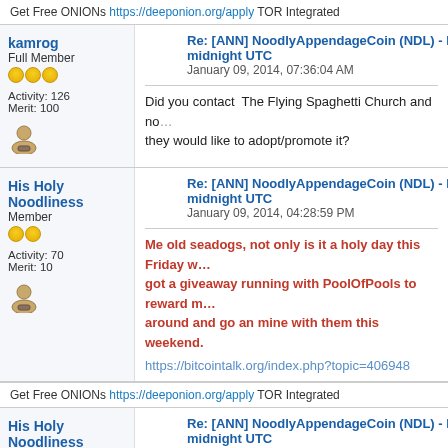Get Free ONIONs https://deeponion.org/apply TOR Integrated
kamrog
Full Member
Activity: 126
Merit: 100
Re: [ANN] NoodlyAppendageCoin (NDL) - La... midnight UTC
January 09, 2014, 07:36:04 AM
Did you contact  The Flying Spaghetti Church and no... they would like to adopt/promote it?
His Holy Noodliness
Member
Activity: 70
Merit: 10
Re: [ANN] NoodlyAppendageCoin (NDL) - La... midnight UTC
January 09, 2014, 04:28:59 PM
Me old seadogs, not only is it a holy day this Friday w... got a giveaway running with PoolOfPools to reward m... around and go an mine with them this weekend.
https://bitcointalk.org/index.php?topic=406948
Get Free ONIONs https://deeponion.org/apply TOR Integrated
His Holy Noodliness
Member
Re: [ANN] NoodlyAppendageCoin (NDL) - La... midnight UTC
January 09, 2014, 06:32:57 PM
Quote from: kamron on January 09, 2014, 07:36:04 AM